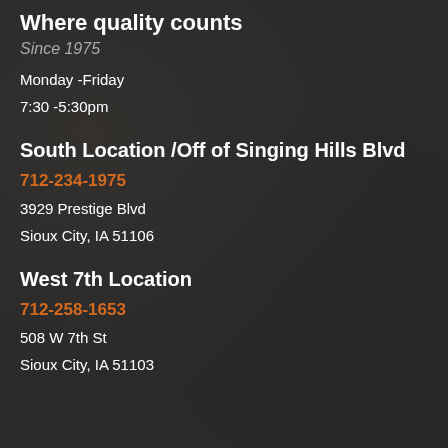Where quality counts
Since 1975
Monday -Friday
7:30 -5:30pm
South Location /Off of Singing Hills Blvd
712-234-1975
3929 Prestige Blvd
Sioux City, IA 51106
West 7th Location
712-258-1653
508 W 7th St
Sioux City, IA 51103